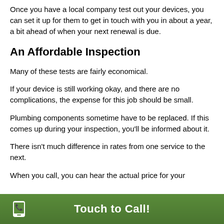Once you have a local company test out your devices, you can set it up for them to get in touch with you in about a year, a bit ahead of when your next renewal is due.
An Affordable Inspection
Many of these tests are fairly economical.
If your device is still working okay, and there are no complications, the expense for this job should be small.
Plumbing components sometime have to be replaced. If this comes up during your inspection, you'll be informed about it.
There isn't much difference in rates from one service to the next.
When you call, you can hear the actual price for your
Touch to Call!